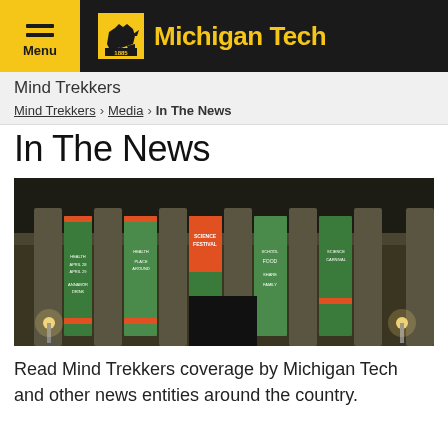Michigan Tech — Menu / Navigation bar
Mind Trekkers
Mind Trekkers > Media > In The News
In The News
[Figure (photo): Night photograph of a classical building with illuminated green and orange banners between pillars, displaying science festival signage]
Read Mind Trekkers coverage by Michigan Tech and other news entities around the country.